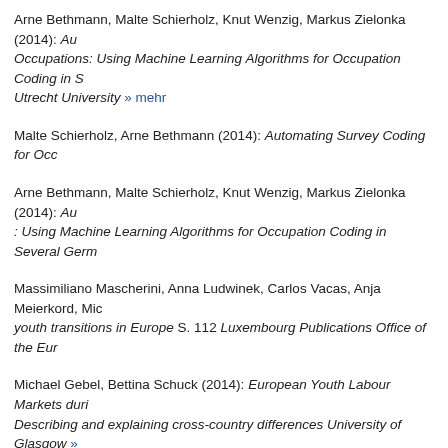Arne Bethmann, Malte Schierholz, Knut Wenzig, Markus Zielonka (2014): Automating Survey Coding for Occupations: Using Machine Learning Algorithms for Occupation Coding in Several German Surveys Utrecht University » mehr
Malte Schierholz, Arne Bethmann (2014): Automating Survey Coding for Occupations…
Arne Bethmann, Malte Schierholz, Knut Wenzig, Markus Zielonka (2014): Automating… : Using Machine Learning Algorithms for Occupation Coding in Several German…
Massimiliano Mascherini, Anna Ludwinek, Carlos Vacas, Anja Meierkord, Mie… youth transitions in Europe S. 112 Luxembourg Publications Office of the Eur…
Michael Gebel, Bettina Schuck (2014): European Youth Labour Markets during… Describing and explaining cross-country differences University of Glasgow » mehr
Michael Gebel, Jonas Voßemer (2014): The impact of employment transitions… difference-in-differences propensity score matching approach S. 128–136 » mehr
Michael Gebel, Stefanie Heyne (2014): Transitions to Adulthood in the Middle… Women's Rising? S. 264 Basingstoke Palgrave Macmillan » mehr
Dirk Hofäcker (2014): Book review 'The politics of parental leave policies: ch… the labour market' S. 366-369 » mehr